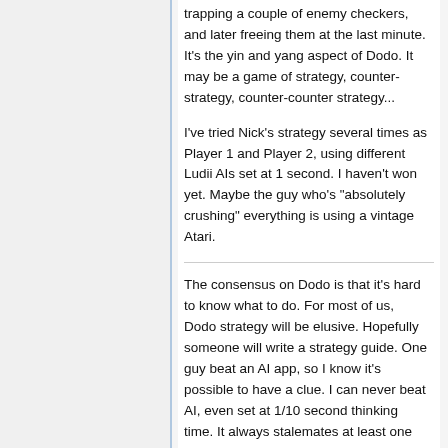trapping a couple of enemy checkers, and later freeing them at the last minute. It's the yin and yang aspect of Dodo. It may be a game of strategy, counter-strategy, counter-counter strategy...
I've tried Nick's strategy several times as Player 1 and Player 2, using different Ludii AIs set at 1 second. I haven't won yet. Maybe the guy who's "absolutely crushing" everything is using a vintage Atari.
The consensus on Dodo is that it's hard to know what to do. For most of us, Dodo strategy will be elusive. Hopefully someone will write a strategy guide. One guy beat an AI app, so I know it's possible to have a clue. I can never beat AI, even set at 1/10 second thinking time. It always stalemates at least one step ahead of me, like magic.